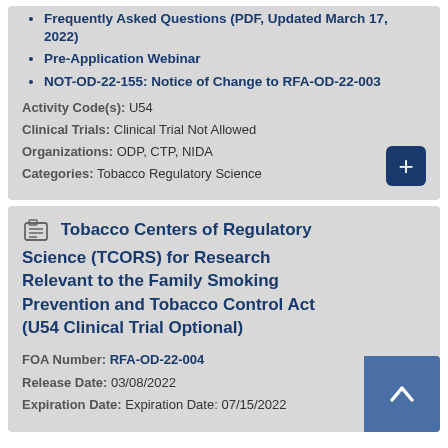Frequently Asked Questions (PDF, Updated March 17, 2022)
Pre-Application Webinar
NOT-OD-22-155: Notice of Change to RFA-OD-22-003
Activity Code(s): U54
Clinical Trials: Clinical Trial Not Allowed
Organizations: ODP, CTP, NIDA
Categories: Tobacco Regulatory Science
Tobacco Centers of Regulatory Science (TCORS) for Research Relevant to the Family Smoking Prevention and Tobacco Control Act (U54 Clinical Trial Optional)
FOA Number: RFA-OD-22-004
Release Date: 03/08/2022
Expiration Date: 07/15/2022